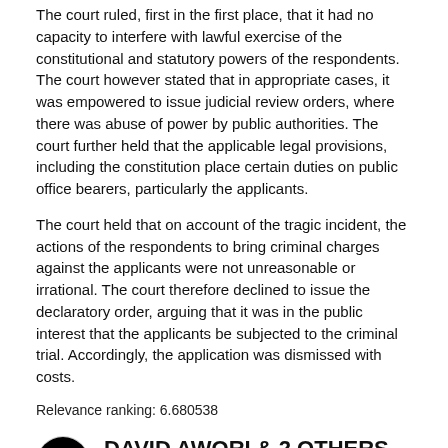The court ruled, first in the first place, that it had no capacity to interfere with lawful exercise of the constitutional and statutory powers of the respondents. The court however stated that in appropriate cases, it was empowered to issue judicial review orders, where there was abuse of power by public authorities. The court further held that the applicable legal provisions, including the constitution place certain duties on public office bearers, particularly the applicants.
The court held that on account of the tragic incident, the actions of the respondents to bring criminal charges against the applicants were not unreasonable or irrational. The court therefore declined to issue the declaratory order, arguing that it was in the public interest that the applicants be subjected to the criminal trial. Accordingly, the application was dismissed with costs.
Relevance ranking: 6.680538
DAVID AWORI & 2 OTHERS ON BEHALF OF GIGIRI VILLAGE ASSOCIATION